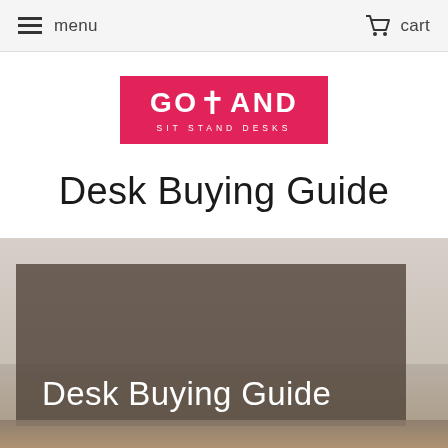menu   cart
[Figure (logo): GoStand Sit Stand Desks logo — white text on red/pink background]
Desk Buying Guide
[Figure (photo): Hero image showing a dark-overlaid card with 'Desk Buying Guide' text in white over a photo of a desk in a room with beige/cream walls]